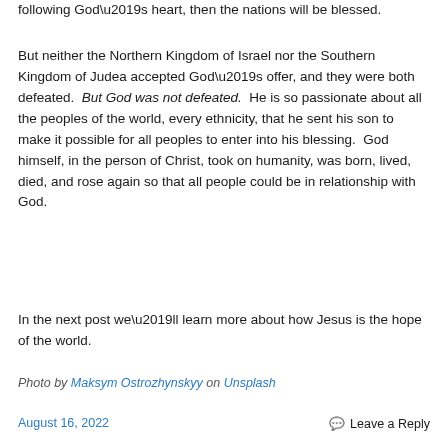following God’s heart, then the nations will be blessed.
But neither the Northern Kingdom of Israel nor the Southern Kingdom of Judea accepted God’s offer, and they were both defeated.  But God was not defeated.  He is so passionate about all the peoples of the world, every ethnicity, that he sent his son to make it possible for all peoples to enter into his blessing.  God himself, in the person of Christ, took on humanity, was born, lived, died, and rose again so that all people could be in relationship with God.
In the next post we’ll learn more about how Jesus is the hope of the world.
Photo by Maksym Ostrozhynskyy on Unsplash
August 16, 2022    Leave a Reply